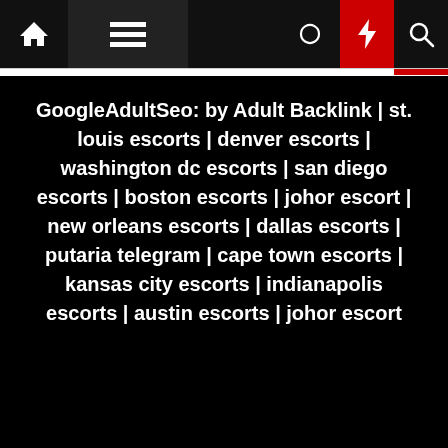Navigation bar with home, menu, moon, bolt, search icons
GoogleAdultSeo: by Adult Backlink | st. louis escorts | denver escorts | washington dc escorts | san diego escorts | boston escorts | johor escort | new orleans escorts | dallas escorts | putaria telegram | cape town escorts | kansas city escorts | indianapolis escorts | austin escorts | johor escort
Subscribe US Now